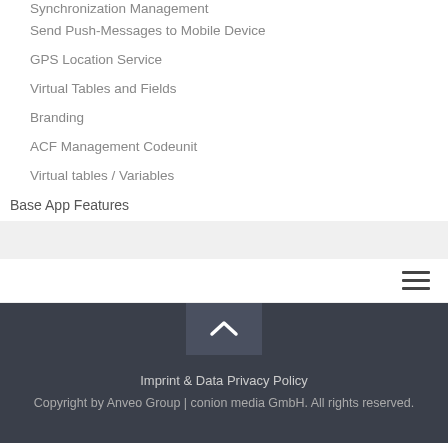Synchronization Management
Send Push-Messages to Mobile Device
GPS Location Service
Virtual Tables and Fields
Branding
ACF Management Codeunit
Virtual tables / Variables
Base App Features
Imprint & Data Privacy Policy
Copyright by Anveo Group | conion media GmbH. All rights reserved.